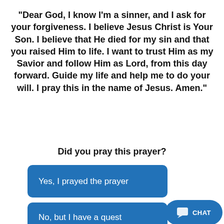We suggest a prayer like this one:
"Dear God, I know I'm a sinner, and I ask for your forgiveness. I believe Jesus Christ is Your Son. I believe that He died for my sin and that you raised Him to life. I want to trust Him as my Savior and follow Him as Lord, from this day forward. Guide my life and help me to do your will. I pray this in the name of Jesus. Amen."
Did you pray this prayer?
Yes, I prayed the prayer
No, but I have a quest
CHAT